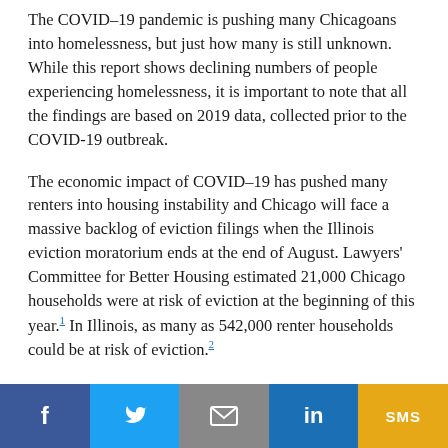The COVID–19 pandemic is pushing many Chicagoans into homelessness, but just how many is still unknown. While this report shows declining numbers of people experiencing homelessness, it is important to note that all the findings are based on 2019 data, collected prior to the COVID-19 outbreak.
The economic impact of COVID–19 has pushed many renters into housing instability and Chicago will face a massive backlog of eviction filings when the Illinois eviction moratorium ends at the end of August. Lawyers' Committee for Better Housing estimated 21,000 Chicago households were at risk of eviction at the beginning of this year.1 In Illinois, as many as 542,000 renter households could be at risk of eviction.2
[Figure (other): Social sharing footer bar with buttons: Facebook (f), Twitter (bird icon), Email (envelope), LinkedIn (in), SMS]